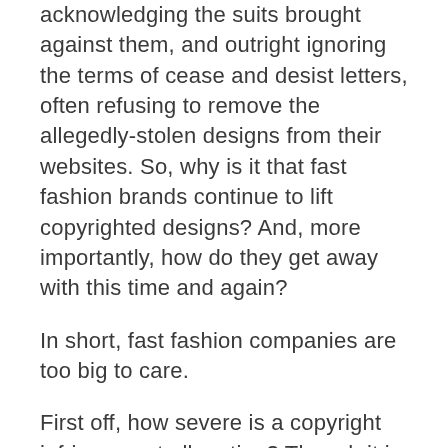acknowledging the suits brought against them, and outright ignoring the terms of cease and desist letters, often refusing to remove the allegedly-stolen designs from their websites. So, why is it that fast fashion brands continue to lift copyrighted designs? And, more importantly, how do they get away with this time and again?
In short, fast fashion companies are too big to care.
First off, how severe is a copyright infringement allegation? Though it is a serious charge in terms of business ethics, copyright infringement actually carries with it underwhelmingly lenient penalties. According to US Law, those